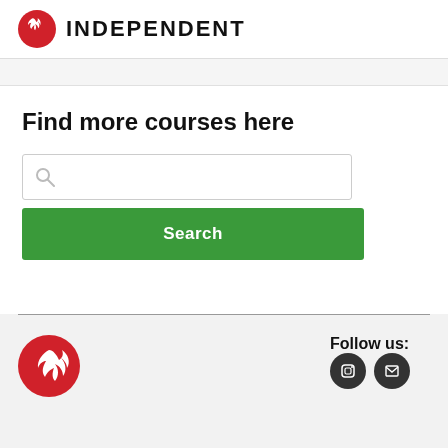[Figure (logo): The Independent newspaper logo: red circle with white eagle, followed by bold uppercase text INDEPENDENT]
Find more courses here
[Figure (screenshot): Search input box with magnifying glass icon placeholder]
[Figure (screenshot): Green Search button]
[Figure (logo): The Independent red circle logo in footer]
Follow us:
[Figure (screenshot): Two dark circular social media icon buttons]